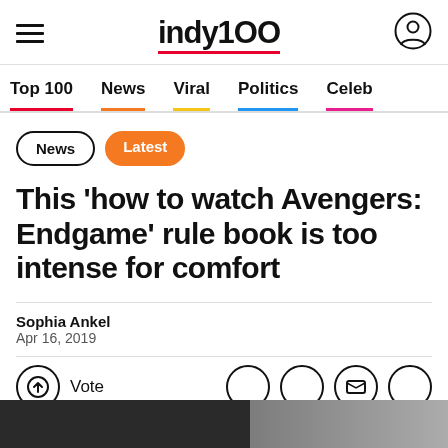indy100
Top 100  News  Viral  Politics  Celeb
News
Latest
This 'how to watch Avengers: Endgame' rule book is too intense for comfort
Sophia Ankel
Apr 16, 2019